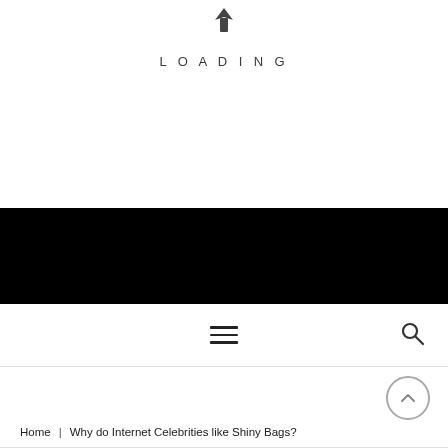[Figure (logo): Website logo icon at top center]
LOADING
[Figure (other): Black banner/header bar]
[Figure (other): Navigation bar with hamburger menu and search icon]
Home | Why do Internet Celebrities like Shiny Bags?